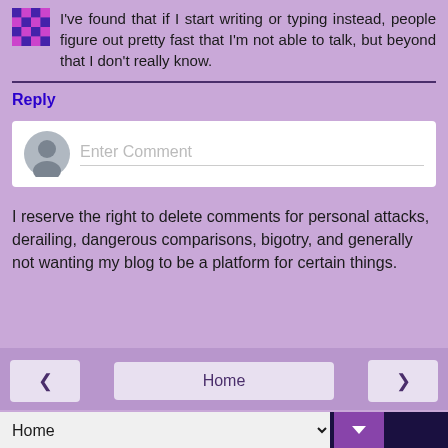I've found that if I start writing or typing instead, people figure out pretty fast that I'm not able to talk, but beyond that I don't really know.
Reply
[Figure (other): Comment input box with user avatar placeholder and 'Enter Comment' placeholder text]
I reserve the right to delete comments for personal attacks, derailing, dangerous comparisons, bigotry, and generally not wanting my blog to be a platform for certain things.
< Home > View web version Home